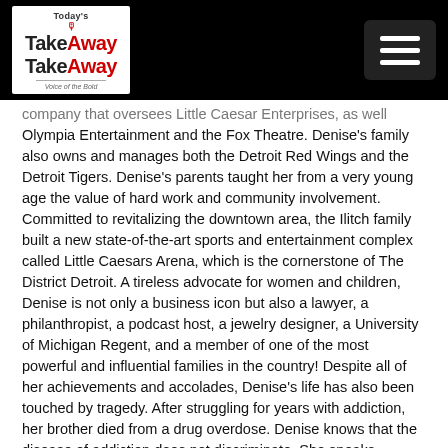Today's TakeAway — logo and menu button
company that oversees Little Caesar Enterprises, as well Olympia Entertainment and the Fox Theatre. Denise's family also owns and manages both the Detroit Red Wings and the Detroit Tigers. Denise's parents taught her from a very young age the value of hard work and community involvement. Committed to revitalizing the downtown area, the Ilitch family built a new state-of-the-art sports and entertainment complex called Little Caesars Arena, which is the cornerstone of The District Detroit. A tireless advocate for women and children, Denise is not only a business icon but also a lawyer, a philanthropist, a podcast host, a jewelry designer, a University of Michigan Regent, and a member of one of the most powerful and influential families in the country! Despite all of her achievements and accolades, Denise's life has also been touched by tragedy. After struggling for years with addiction, her brother died from a drug overdose. Denise knows that the disease of addiction does not discriminate. She speaks candidly about her brother in the hope of educating and sparing others the pain her family experienced. She shares personal stories about her family, what's next for her, and so much more!